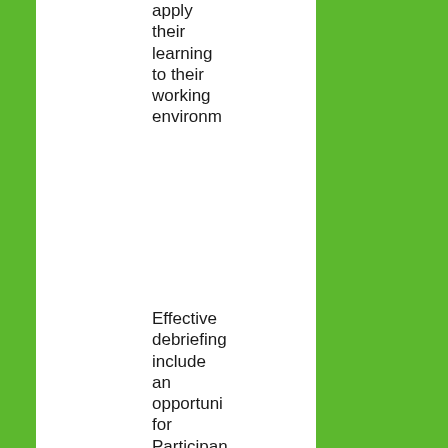apply their learning to their working environm
Effective debriefings include an opportuni for Participan
To relate their own experienc of the exercise To